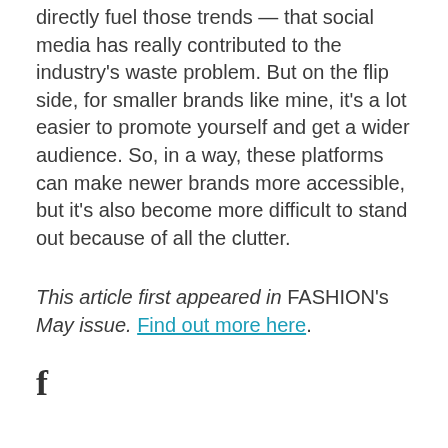directly fuel those trends — that social media has really contributed to the industry's waste problem. But on the flip side, for smaller brands like mine, it's a lot easier to promote yourself and get a wider audience. So, in a way, these platforms can make newer brands more accessible, but it's also become more difficult to stand out because of all the clutter.
This article first appeared in FASHION's May issue. Find out more here.
[Figure (logo): Facebook icon (letter f)]